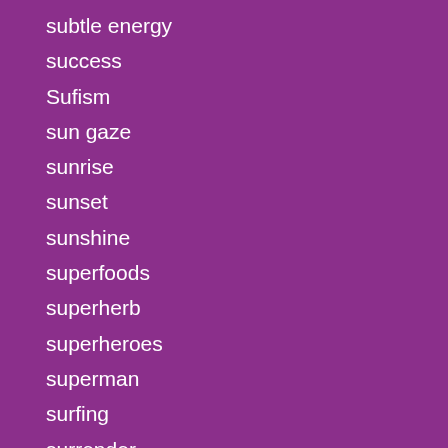subtle energy
success
Sufism
sun gaze
sunrise
sunset
sunshine
superfoods
superherb
superheroes
superman
surfing
surrender
the best day ever
the fun police